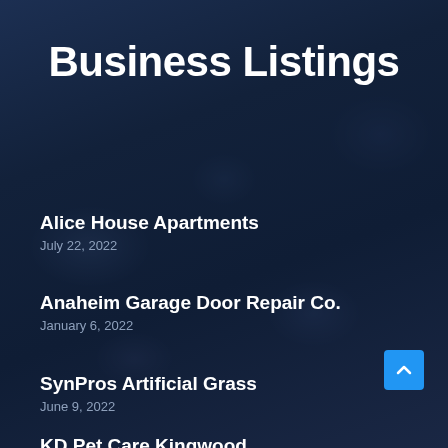Business Listings
Alice House Apartments
July 22, 2022
Anaheim Garage Door Repair Co.
January 6, 2022
SynPros Artificial Grass
June 9, 2022
KD Pet Care Kingwood
January 30, 2021